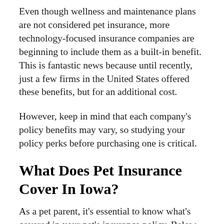Even though wellness and maintenance plans are not considered pet insurance, more technology-focused insurance companies are beginning to include them as a built-in benefit. This is fantastic news because until recently, just a few firms in the United States offered these benefits, but for an additional cost.
However, keep in mind that each company's policy benefits may vary, so studying your policy perks before purchasing one is critical.
What Does Pet Insurance Cover In Iowa?
As a pet parent, it's essential to know what's covered in your pet's insurance policy. Below are